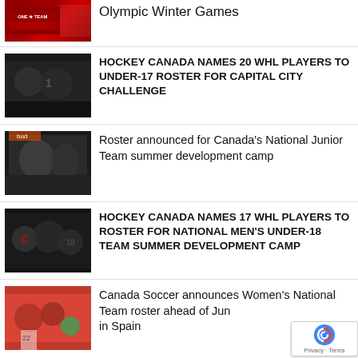[Figure (photo): Hockey Canada One Team logo on red background - partial top item]
Olympic Winter Games
[Figure (photo): Hockey players on ice in black and white uniforms]
HOCKEY CANADA NAMES 20 WHL PLAYERS TO UNDER-17 ROSTER FOR CAPITAL CITY CHALLENGE
[Figure (photo): Hockey goalie and players on ice during practice]
Roster announced for Canada's National Junior Team summer development camp
[Figure (photo): Hockey players in dark uniforms during game or practice]
HOCKEY CANADA NAMES 17 WHL PLAYERS TO ROSTER FOR NATIONAL MEN'S UNDER-18 TEAM SUMMER DEVELOPMENT CAMP
[Figure (photo): Soccer players in red uniforms]
Canada Soccer announces Women's National Team roster ahead of June matches in Spain